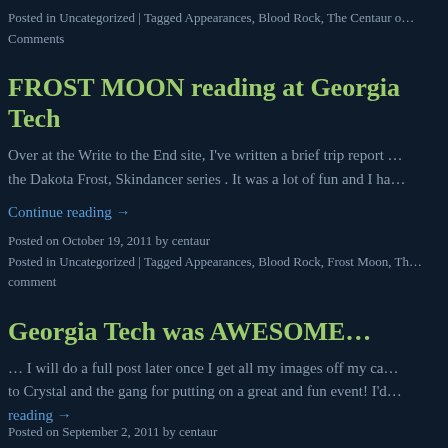Posted in Uncategorized | Tagged Appearances, Blood Rock, The Centaur o… Comments
FROST MOON reading at Georgia Tech
Over at the Write to the End site, I've written a brief trip report … the Dakota Frost, Skindancer series . It was a lot of fun and I ha…
Continue reading →
Posted on October 19, 2011 by centaur
Posted in Uncategorized | Tagged Appearances, Blood Rock, Frost Moon, Th… comment
Georgia Tech was AWESOME…
… I will do a full post later once I get all my images off my ca… to Crystal and the gang for putting on a great and fun event! I'd… reading →
Posted on September 2, 2011 by centaur